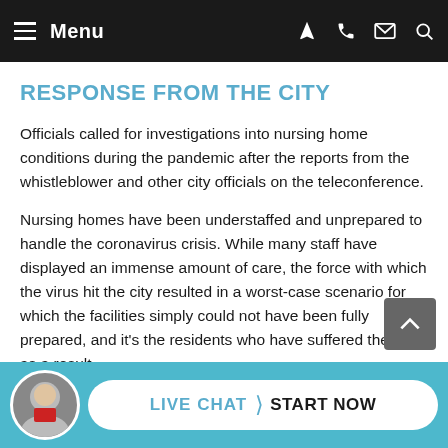Menu
RESPONSE FROM THE CITY
Officials called for investigations into nursing home conditions during the pandemic after the reports from the whistleblower and other city officials on the teleconference.
Nursing homes have been understaffed and unprepared to handle the coronavirus crisis. While many staff have displayed an immense amount of care, the force with which the virus hit the city resulted in a worst-case scenario for which the facilities simply could not have been fully prepared, and it's the residents who have suffered the most as a result.
The COVID-19 crisis has resulted in a number of long-failing